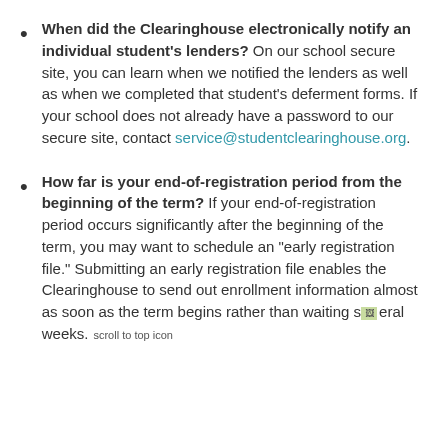When did the Clearinghouse electronically notify an individual student's lenders? On our school secure site, you can learn when we notified the lenders as well as when we completed that student's deferment forms. If your school does not already have a password to our secure site, contact service@studentclearinghouse.org.
How far is your end-of-registration period from the beginning of the term? If your end-of-registration period occurs significantly after the beginning of the term, you may want to schedule an “early registration file.” Submitting an early registration file enables the Clearinghouse to send out enrollment information almost as soon as the term begins rather than waiting several weeks.